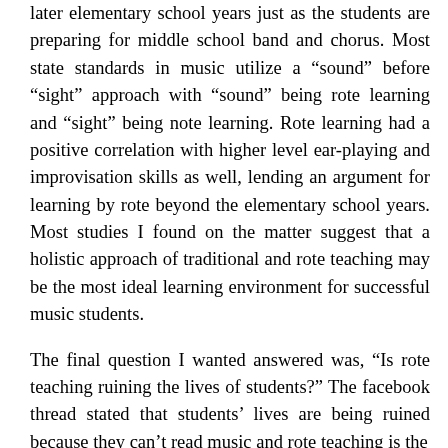later elementary school years just as the students are preparing for middle school band and chorus. Most state standards in music utilize a “sound” before “sight” approach with “sound” being rote learning and “sight” being note learning. Rote learning had a positive correlation with higher level ear-playing and improvisation skills as well, lending an argument for learning by rote beyond the elementary school years. Most studies I found on the matter suggest that a holistic approach of traditional and rote teaching may be the most ideal learning environment for successful music students.
The final question I wanted answered was, “Is rote teaching ruining the lives of students?” The facebook thread stated that students’ lives are being ruined because they can’t read music and rote teaching is the